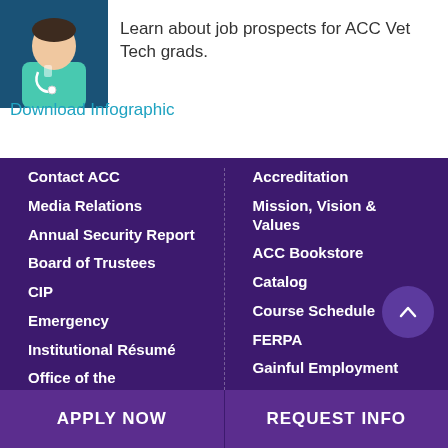[Figure (illustration): Illustrated doctor/veterinarian figure wearing scrubs and a stethoscope on a blue background]
Learn about job prospects for ACC Vet Tech grads.
Download Infographic
Contact ACC
Media Relations
Annual Security Report
Board of Trustees
CIP
Emergency
Institutional Résumé
Office of the
Accreditation
Mission, Vision & Values
ACC Bookstore
Catalog
Course Schedule
FERPA
Gainful Employment
APPLY NOW
REQUEST INFO